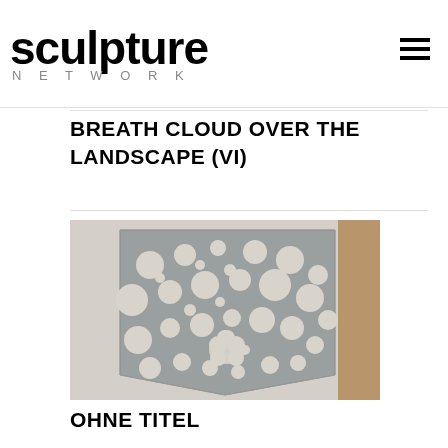sculpture NETWORK
BREATH CLOUD OVER THE LANDSCAPE (VI)
[Figure (photo): Close-up photograph of a metallic sculpture with a triangular/shield shape featuring numerous circular holes of varying sizes punched through the surface, creating a perforated pattern. The metal appears silver/grey and textured.]
OHNE TITEL